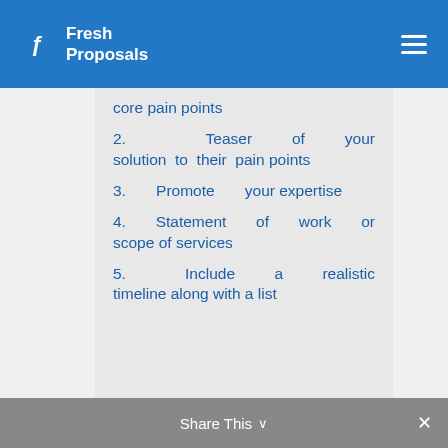Fresh Proposals
core pain points
2. Teaser of your solution to their pain points
3. Promote your expertise
4. Statement of work or scope of services
5. Include a realistic timeline along with a list
Share This ∨  ✕